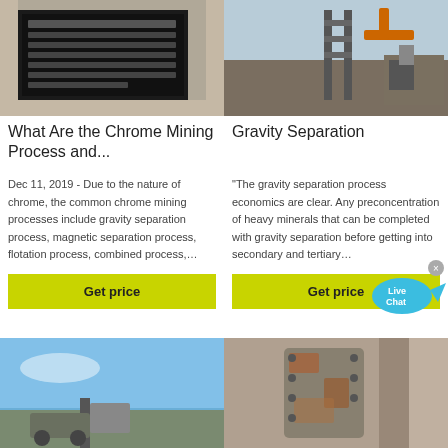[Figure (photo): Photo of a black placard or sign with white text on a stone wall, related to chrome mining]
[Figure (photo): Photo of mining equipment and machinery at a quarry or mining site with an orange excavator]
What Are the Chrome Mining Process and...
Gravity Separation
Dec 11, 2019 - Due to the nature of chrome, the common chrome mining processes include gravity separation process, magnetic separation process, flotation process, combined process,...
"The gravity separation process economics are clear. Any preconcentration of heavy minerals that can be completed with gravity separation before getting into secondary and tertiary...
Get price
Get price
[Figure (photo): Photo of a blue sky with mining or industrial equipment partially visible at bottom]
[Figure (photo): Photo of rusty or weathered industrial machinery or equipment]